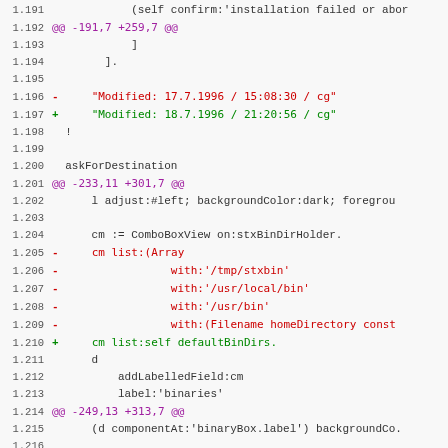[Figure (screenshot): A diff/patch view of source code showing line numbers 1.191 through 1.222, with removed lines in red, added lines in green, hunk headers in purple, and context lines in dark gray on a light background.]